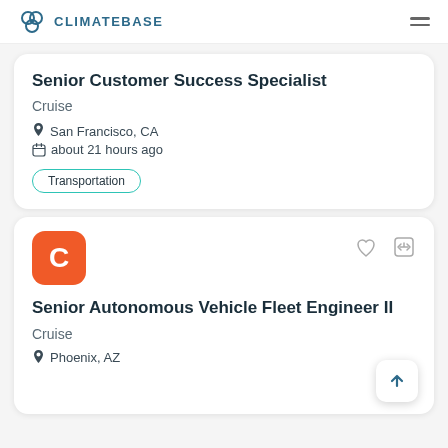CLIMATEBASE
Senior Customer Success Specialist
Cruise
San Francisco, CA
about 21 hours ago
Transportation
Senior Autonomous Vehicle Fleet Engineer II
Cruise
Phoenix, AZ